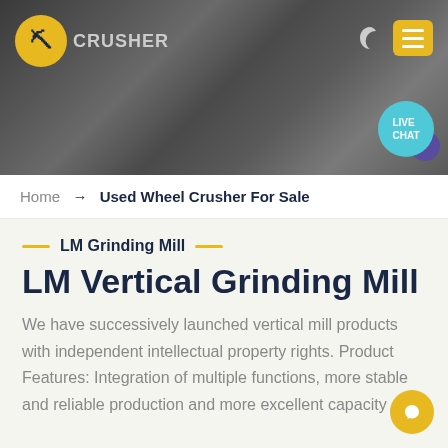[Figure (photo): Website header with dark industrial/quarry background showing mining machinery and stone. Logo with yellow hard-hat icon on left, moon/dark mode icon and yellow menu button on right, teal LIVE CHAT bubble bottom right.]
Home → Used Wheel Crusher For Sale
LM Grinding Mill
LM Vertical Grinding Mill
We have successively launched vertical mill products with independent intellectual property rights. Product Features: Integration of multiple functions, more stable and reliable production and more excellent capacity